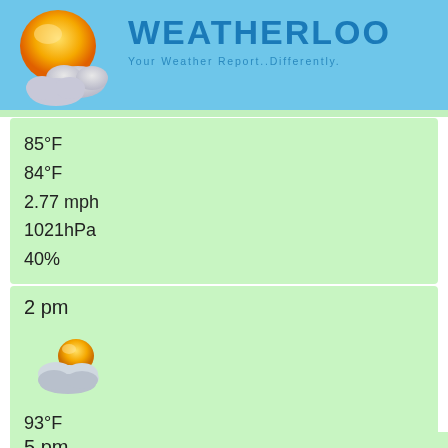[Figure (logo): Weatherloo logo with sun and cloud icons on blue background]
WEATHERLOO
Your Weather Report..Differently.
85°F
84°F
2.77 mph
1021hPa
40%
2 pm
[Figure (illustration): Partly cloudy with sun weather icon]
93°F
90°F
4.99 mph
1019hPa
26%
5 pm